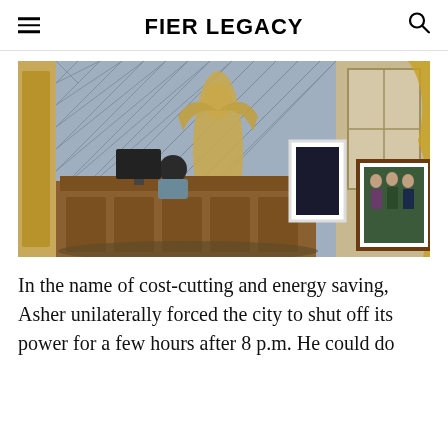FIER LEGACY
[Figure (screenshot): A Sims 4 game screenshot of an ornate study room with a character sitting at a large carved wooden desk, a golden angel statue, framed artwork on the floor, and a family portrait painting on the right side.]
In the name of cost-cutting and energy saving, Asher unilaterally forced the city to shut off its power for a few hours after 8 p.m. He could do